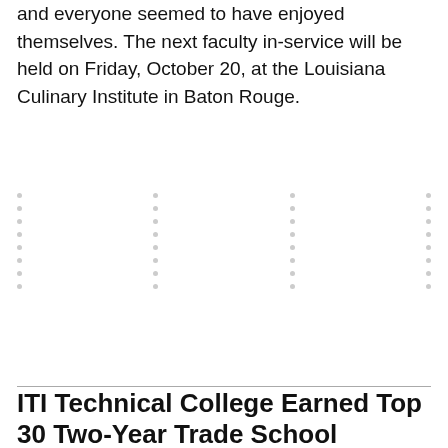and everyone seemed to have enjoyed themselves. The next faculty in-service will be held on Friday, October 20, at the Louisiana Culinary Institute in Baton Rouge.
ITI Technical College Earned Top 30 Two-Year Trade School Recognition
Forbes Research Results and Methodology: ITI Technical College in Baton Rouge made the Forbes top 30 list of two-year trade schools based on data from the Department of